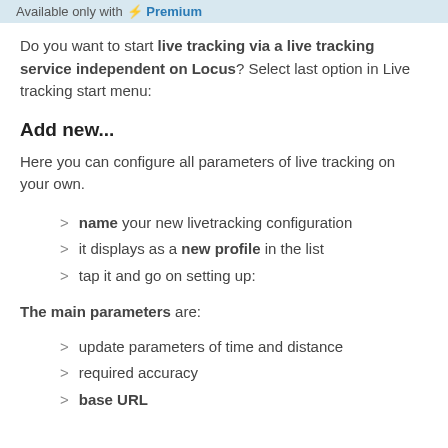Available only with Premium
Do you want to start live tracking via a live tracking service independent on Locus? Select last option in Live tracking start menu:
Add new...
Here you can configure all parameters of live tracking on your own.
> name your new livetracking configuration
> it displays as a new profile in the list
> tap it and go on setting up:
The main parameters are:
> update parameters of time and distance
> required accuracy
> base URL